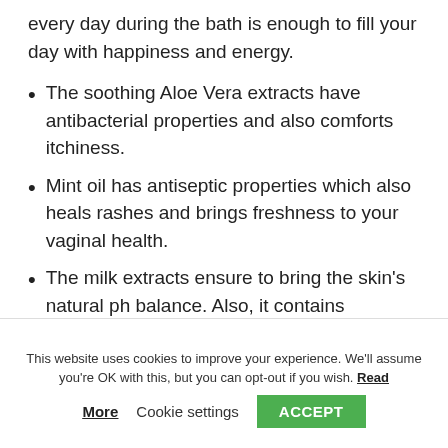every day during the bath is enough to fill your day with happiness and energy.
The soothing Aloe Vera extracts have antibacterial properties and also comforts itchiness.
Mint oil has antiseptic properties which also heals rashes and brings freshness to your vaginal health.
The milk extracts ensure to bring the skin's natural ph balance. Also, it contains
This website uses cookies to improve your experience. We'll assume you're OK with this, but you can opt-out if you wish. Read More   Cookie settings   ACCEPT